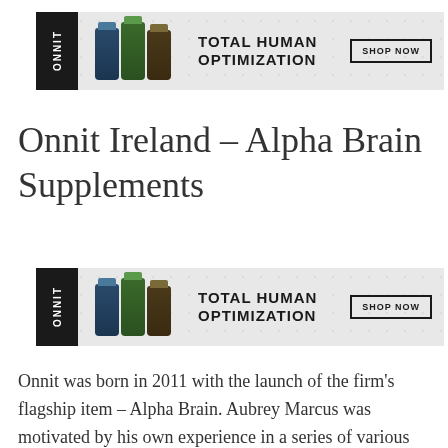[Figure (infographic): Onnit advertisement banner showing logo, supplement bottles, 'TOTAL HUMAN OPTIMIZATION' headline, and SHOP NOW button]
Onnit Ireland – Alpha Brain Supplements
[Figure (infographic): Onnit advertisement banner showing logo, supplement bottles, 'TOTAL HUMAN OPTIMIZATION' headline, and SHOP NOW button]
Onnit was born in 2011 with the launch of the firm's flagship item – Alpha Brain. Aubrey Marcus was motivated by his own experience in a series of various sports that he has actually joined